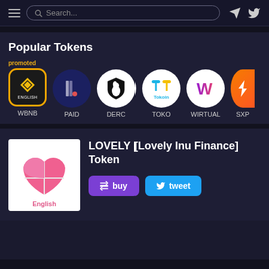[Figure (screenshot): Navigation header with hamburger menu, search bar, and social icons (Telegram, Twitter)]
Popular Tokens
promoted
[Figure (logo): WBNB token logo - black background with yellow binance diamond icon, yellow border, ENGLISH label]
WBNB
[Figure (logo): PAID token logo - dark blue circle with stylized D icon]
PAID
[Figure (logo): DERC token logo - white circle with black shield and horse icon]
DERC
[Figure (logo): TOKO token logo - white circle with blue/yellow T icon and Tokoin text]
TOKO
[Figure (logo): WIRTUAL token logo - white circle with purple/pink W icon]
WIRTUAL
[Figure (logo): SXP token logo - orange circle with white lightning bolt icon (partially visible)]
SXP
[Figure (logo): LOVELY token logo - white background with pink heart/flower design, English label]
LOVELY [Lovely Inu Finance] Token
buy
tweet